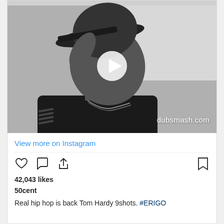[Figure (screenshot): Black and white photo of a person wearing a cap and chain necklace, looking upward, with a white play button overlay and dubsmash.com watermark in the bottom right]
View more on Instagram
[Figure (infographic): Instagram action icons row: heart (like), comment bubble, share arrow, and bookmark icon]
42,043 likes
50cent
Real hip hop is back Tom Hardy 9shots. #ERIGO